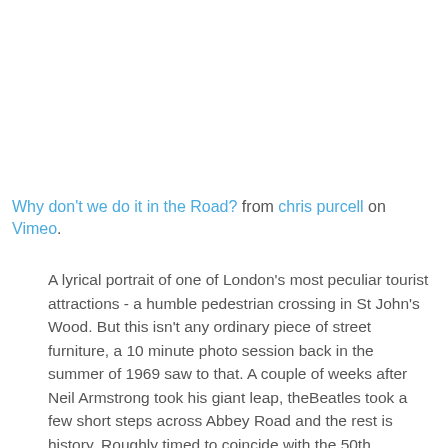Why don't we do it in the Road? from chris purcell on Vimeo.
A lyrical portrait of one of London's most peculiar tourist attractions - a humble pedestrian crossing in St John's Wood. But this isn't any ordinary piece of street furniture, a 10 minute photo session back in the summer of 1969 saw to that. A couple of weeks after Neil Armstrong took his giant leap, theBeatles took a few short steps across Abbey Road and the rest is history. Roughly timed to coincide with the 50th